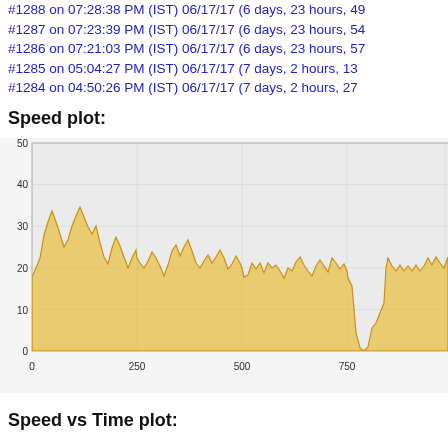#1288 on 07:28:38 PM (IST) 06/17/17 (6 days, 23 hours, 49…
#1287 on 07:23:39 PM (IST) 06/17/17 (6 days, 23 hours, 54…
#1286 on 07:21:03 PM (IST) 06/17/17 (6 days, 23 hours, 57…
#1285 on 05:04:27 PM (IST) 06/17/17 (7 days, 2 hours, 13…
#1284 on 04:50:26 PM (IST) 06/17/17 (7 days, 2 hours, 27…
Speed plot:
[Figure (continuous-plot): Speed plot showing speed (0–50) vs distance (0–~900+). Area chart with golden/yellow fill showing speed fluctuations, mostly between 15–35, with some peaks reaching ~40 and a dip to near 0 around x=550.]
Speed vs Time plot: